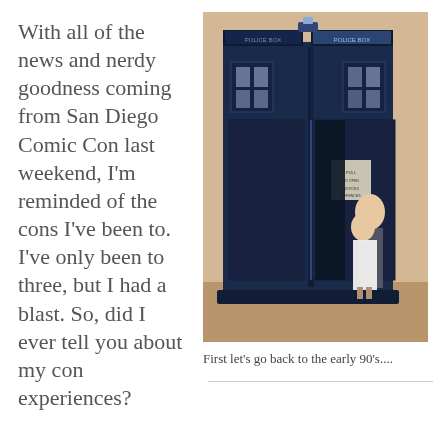With all of the news and nerdy goodness coming from San Diego Comic Con last weekend, I'm reminded of the cons I've been to. I've only been to three, but I had a blast. So, did I ever tell you about my con experiences?
[Figure (photo): Two girls standing in front of a TARDIS (Doctor Who police box replica). The TARDIS is dark blue with lit-up signs on top. One girl is taller and standing behind, one is shorter in a white dress standing in front.]
First let's go back to the early 90's....